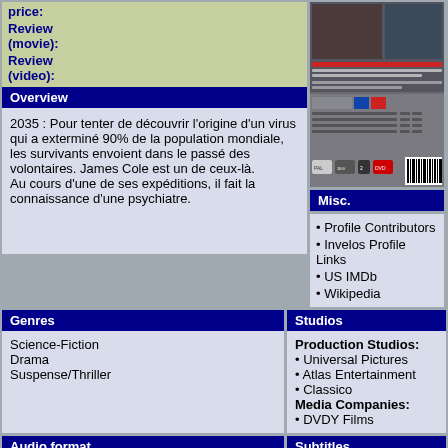price:
Review (movie):
Review (video):
[Figure (photo): DVD back cover of a science-fiction movie (12 Monkeys / L'Armée des 12 Singes)]
Overview
2035 : Pour tenter de découvrir l'origine d'un virus qui a exterminé 90% de la population mondiale, les survivants envoient dans le passé des volontaires. James Cole est un de ceux-là. Au cours d'une de ses expéditions, il fait la connaissance d'une psychiatre.
Misc.
Profile Contributors
Invelos Profile Links
US IMDb
Wikipedia
Genres
Studios
Science-Fiction
Drama
Suspense/Thriller
Production Studios:
• Universal Pictures
• Atlas Entertainment
• Classico
Media Companies:
• DVDY Films
Audio format
Subtitles
| French | Dolby Digital 5.1 |
| English | Dolby Digital 5.1 |
French
Discs